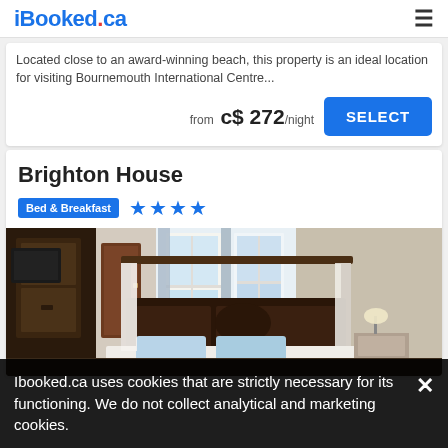iBooked.ca
Located close to an award-winning beach, this property is an ideal location for visiting Bournemouth International Centre...
from c$ 272/night
Brighton House
Bed & Breakfast ★★★★
[Figure (photo): Interior photo of a hotel room featuring a four-poster canopy bed with white drapes, blue pillows, natural light from windows, and wooden furniture]
Ibooked.ca uses cookies that are strictly necessary for its functioning. We do not collect analytical and marketing cookies.